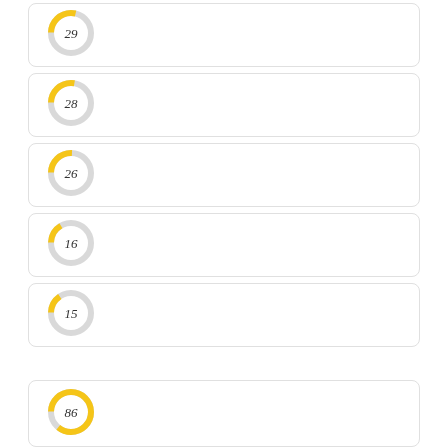[Figure (donut-chart): 29]
[Figure (donut-chart): 28]
[Figure (donut-chart): 26]
[Figure (donut-chart): 16]
[Figure (donut-chart): 15]
[Figure (donut-chart): 86]